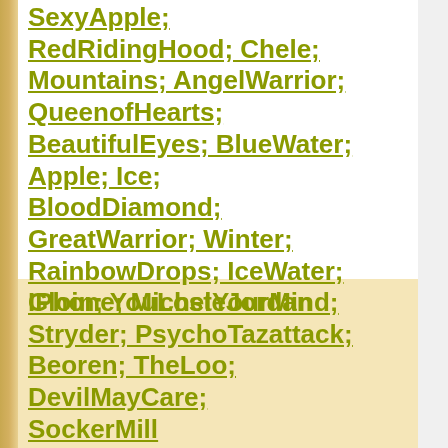SexyApple; RedRidingHood; Chele; Mountains; AngelWarrior; QueenofHearts; BeautifulEyes; BlueWater; Apple; Ice; BloodDiamond; GreatWarrior; Winter; RainbowDrops; IceWater; IPhone; MicheleJordan
Gloin; YouLostYourMind; Stryder; PsychoTazattack; Beoren; TheLoo; DevilMayCare; SockerMill...